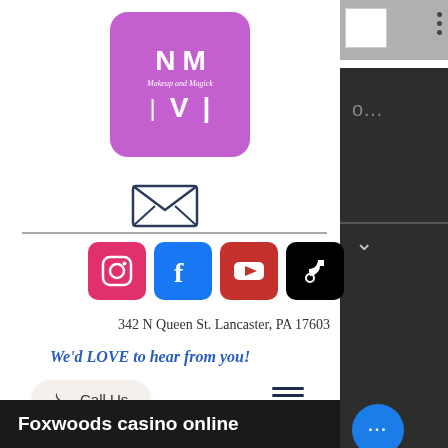[Figure (logo): Makeup and Magick logo — purple rounded square with stylized M letters and text 'Makeup and Magick']
[Figure (illustration): Open envelope icon (email/contact symbol)]
[Figure (infographic): Social media icons: Instagram (pink), Facebook (blue), YouTube (red), TikTok (black)]
342 N Queen St. Lancaster, PA 17603
We'd LOVE to hear from you!
Call Us
Foxwoods casino online promotions